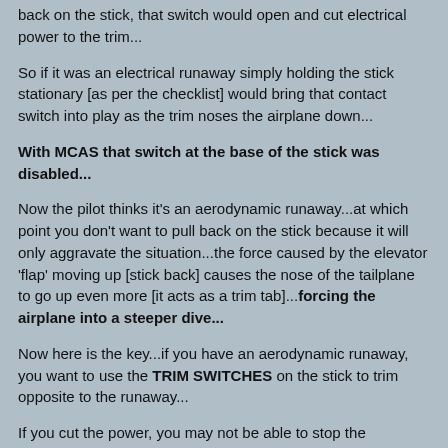back on the stick, that switch would open and cut electrical power to the trim...
So if it was an electrical runaway simply holding the stick stationary [as per the checklist] would bring that contact switch into play as the trim noses the airplane down...
With MCAS that switch at the base of the stick was disabled...
Now the pilot thinks it's an aerodynamic runaway...at which point you don't want to pull back on the stick because it will only aggravate the situation...the force caused by the elevator 'flap' moving up [stick back] causes the nose of the tailplane to go up even more [it acts as a trim tab]...forcing the airplane into a steeper dive...
Now here is the key...if you have an aerodynamic runaway, you want to use the TRIM SWITCHES on the stick to trim opposite to the runaway...
If you cut the power, you may not be able to stop the aerodynamic runaway with your bare hands on those trim wheels...and if the plane gets all the way nose down, you're never going to budge those wheels...
The Ethiopian flight data recorder shows the pilots had exactly this situation...in desperation they turned the electrical cutout switches back on to trim with the stick